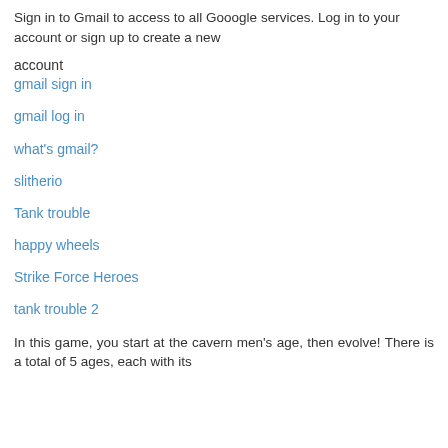Sign in to Gmail to access to all Gooogle services. Log in to your account or sign up to create a new
account
gmail sign in
gmail log in
what's gmail?
slitherio
Tank trouble
happy wheels
Strike Force Heroes
tank trouble 2
In this game, you start at the cavern men's age, then evolve! There is a total of 5 ages, each with its